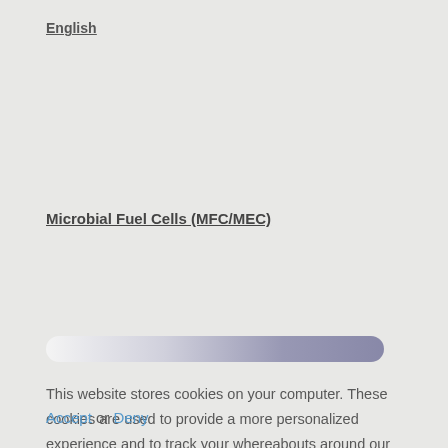English
Microbial Fuel Cells (MFC/MEC)
[Figure (other): A horizontal progress bar with gradient from light gray/white on the left to a medium blue-gray on the right, rounded ends.]
This website stores cookies on your computer. These cookies are used to provide a more personalized experience and to track your whereabouts around our website in compliance with the European General Data Protection Regulation. If you decide to to opt-out of any future tracking, a cookie will be setup in your browser to remember this choice for one year.
Accept or Deny